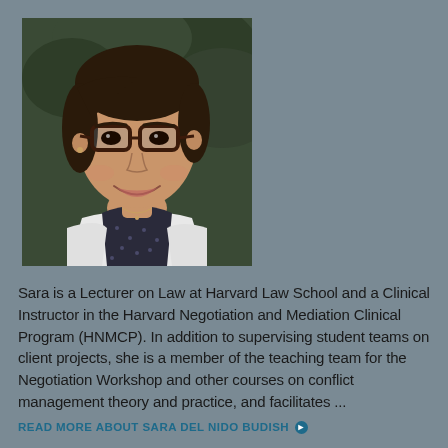[Figure (photo): Portrait photo of Sara Del Nido Budish, a young woman with dark hair and glasses, smiling, wearing a dark polka-dot shirt and white vest, with greenery in the background.]
Sara is a Lecturer on Law at Harvard Law School and a Clinical Instructor in the Harvard Negotiation and Mediation Clinical Program (HNMCP). In addition to supervising student teams on client projects, she is a member of the teaching team for the Negotiation Workshop and other courses on conflict management theory and practice, and facilitates ...
READ MORE ABOUT SARA DEL NIDO BUDISH >